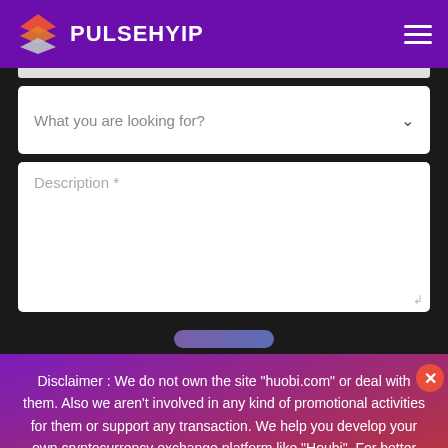PULSEHYIP
What you are looking for?
Description *
Disclaimer : We do not own the site "huobi.com" or deal with them. Also we aren't involved in any kind of promotional activities for them or support any transaction. We help you develop your own cryptocurrency exchange platform like "Houbi". For better understanding and easy identification we use the term "Houbi".